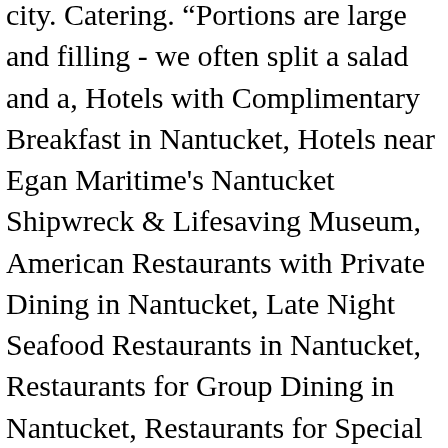city. Catering. “Portions are large and filling - we often split a salad and a, Hotels with Complimentary Breakfast in Nantucket, Hotels near Egan Maritime's Nantucket Shipwreck & Lifesaving Museum, American Restaurants with Private Dining in Nantucket, Late Night Seafood Restaurants in Nantucket, Restaurants for Group Dining in Nantucket, Restaurants for Special Occasions in Nantucket, Restaurants with Outdoor Seating in Nantucket, Restaurants near The Nantucket Hotel & Resort, Restaurants near The